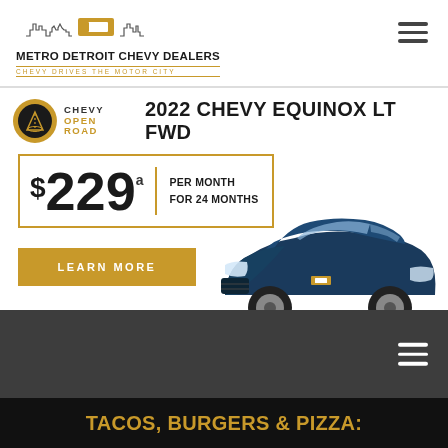METRO DETROIT CHEVY DEALERS — CHEVY DRIVES THE MOTOR CITY
2022 CHEVY EQUINOX LT FWD
$229* PER MONTH FOR 24 MONTHS
[Figure (photo): 2022 Chevy Equinox LT FWD shown in dark blue metallic, three-quarter front view on white background]
LEARN MORE
TACOS, BURGERS & PIZZA: